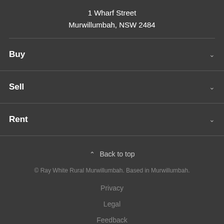1 Wharf Street
Murwillumbah, NSW 2484
Buy
Sell
Rent
Back to top
© Ray White Rural Murwillumbah. Based in Murwillumbah.
Privacy
Legal
Feedback